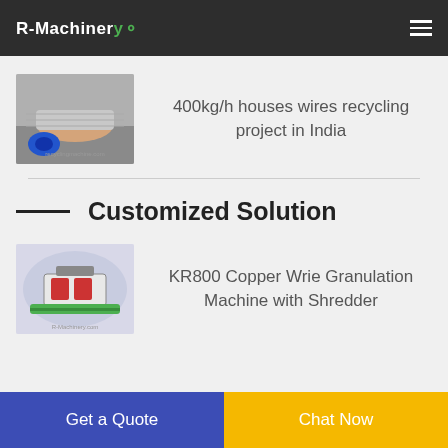R-Machinery
[Figure (photo): Photo of copper wires and a blue coil on a machine tray]
400kg/h houses wires recycling project in India
[Figure (photo): 3D rendering of KR800 Copper Wire Granulation Machine with Shredder on a world map background]
Customized Solution
KR800 Copper Wrie Granulation Machine with Shredder
Get a Quote
Chat Now